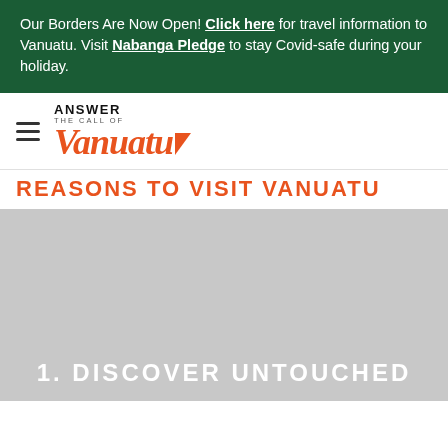Our Borders Are Now Open! Click here for travel information to Vanuatu. Visit Nabanga Pledge to stay Covid-safe during your holiday.
[Figure (logo): Answer the Call of Vanuatu logo with hamburger menu icon]
REASONS TO VISIT VANUATU
[Figure (photo): Large placeholder image (grey) with overlay text '1. DISCOVER UNTOUCHED']